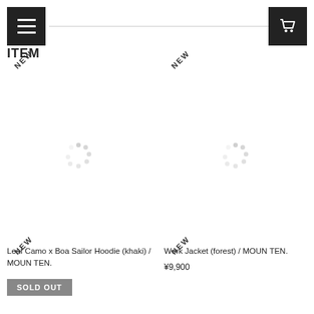ITEM
[Figure (photo): Product image placeholder with loading spinner - Leaf Camo x Boa Sailor Hoodie (khaki) / MOUN TEN.]
Leaf Camo x Boa Sailor Hoodie (khaki) / MOUN TEN.
SOLD OUT
[Figure (photo): Product image placeholder with loading spinner - Work Jacket (forest) / MOUN TEN.]
Work Jacket (forest) / MOUN TEN.
¥9,900
[Figure (photo): Product image placeholder with NEW badge - bottom left]
[Figure (photo): Product image placeholder with NEW badge - bottom right]